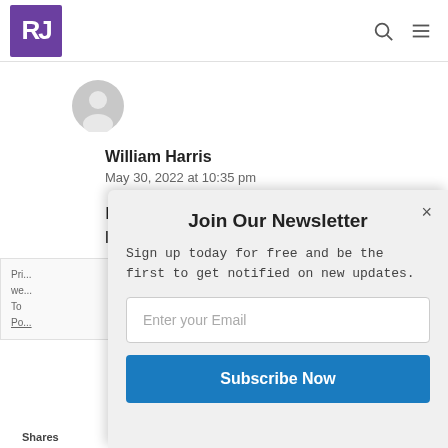RJ [logo] [search icon] [menu icon]
[Figure (illustration): Gray circular avatar/profile placeholder icon]
William Harris
May 30, 2022 at 10:35 pm
I would note that the Bauer-Arndt-Gingrich lexi... has nearly two full
[Figure (logo): POWERED BY SUMO badge overlay]
Pri... we... To Po...
Join Our Newsletter
Sign up today for free and be the first to get notified on new updates.
Enter your Email
Subscribe Now
Shares